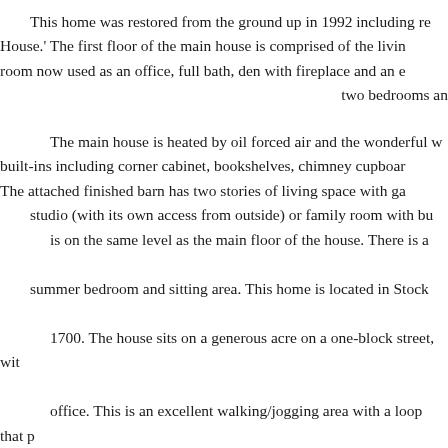This home was restored from the ground up in 1992 including re House.' The first floor of the main house is comprised of the livin room now used as an office, full bath, den with fireplace and an e two bedrooms an
The main house is heated by oil forced air and the wonderful w built-ins including corner cabinet, bookshelves, chimney cupboar The attached finished barn has two stories of living space with ga studio (with its own access from outside) or family room with bu is on the same level as the main floor of the house. There is a summer bedroom and sitting area. This home is located in Stock 1700. The house sits on a generous acre on a one-block street, wit office. This is an excellent walking/jogging area with a loop that p Road which leads to a public marina, Fort Point Lighthouse and Point section of Stockton Springs is Sandy Point Beach Pa
Stockton Springs is located about 9 miles from Belfast to the s between Rockland and Bar Harbor and is 25 miles from Bangor, w This area of mid-coast Maine has many a